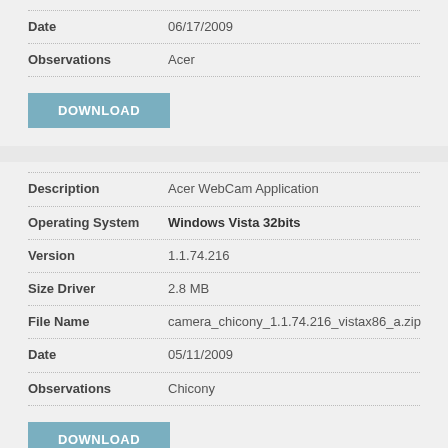| Field | Value |
| --- | --- |
| Date | 06/17/2009 |
| Observations | Acer |
DOWNLOAD
| Field | Value |
| --- | --- |
| Description | Acer WebCam Application |
| Operating System | Windows Vista 32bits |
| Version | 1.1.74.216 |
| Size Driver | 2.8 MB |
| File Name | camera_chicony_1.1.74.216_vistax86_a.zip |
| Date | 05/11/2009 |
| Observations | Chicony |
DOWNLOAD